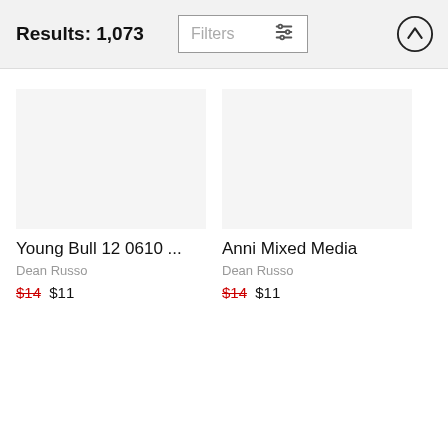Results: 1,073
Filters
Young Bull 12 0610 ...
Dean Russo
$14  $11
Anni Mixed Media
Dean Russo
$14  $11